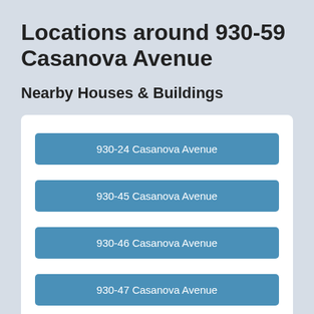Locations around 930-59 Casanova Avenue
Nearby Houses & Buildings
930-24 Casanova Avenue
930-45 Casanova Avenue
930-46 Casanova Avenue
930-47 Casanova Avenue
930-48 Casanova Avenue
930-49 Casanova Avenue